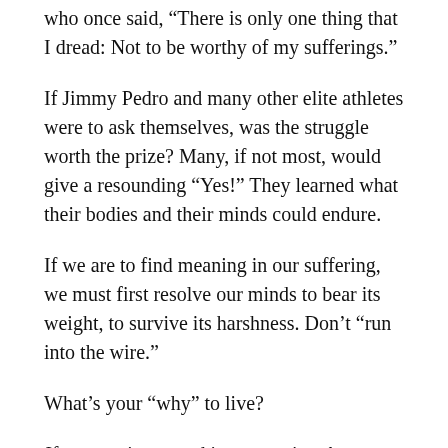who once said, “There is only one thing that I dread: Not to be worthy of my sufferings.”
If Jimmy Pedro and many other elite athletes were to ask themselves, was the struggle worth the prize? Many, if not most, would give a resounding “Yes!” They learned what their bodies and their minds could endure.
If we are to find meaning in our suffering, we must first resolve our minds to bear its weight, to survive its harshness. Don’t “run into the wire.”
What’s your “why” to live?
If you are interested in supporting the ongoing